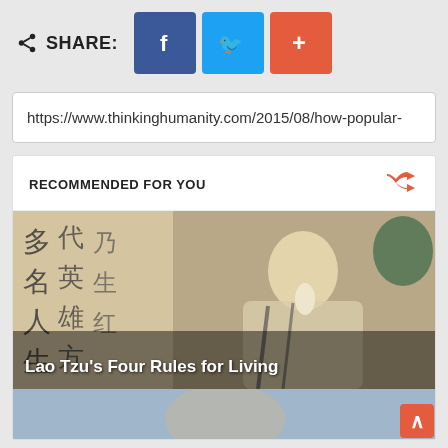SHARE: [Facebook] [Twitter] [+]
https://www.thinkinghumanity.com/2015/08/how-popular-
RECOMMENDED FOR YOU
[Figure (illustration): Painting of Lao Tzu writing with Chinese calligraphy in background, with overlay text 'Lao Tzu's Four Rules for Living']
[Figure (photo): Partial photo of a person, bottom of recommended section]